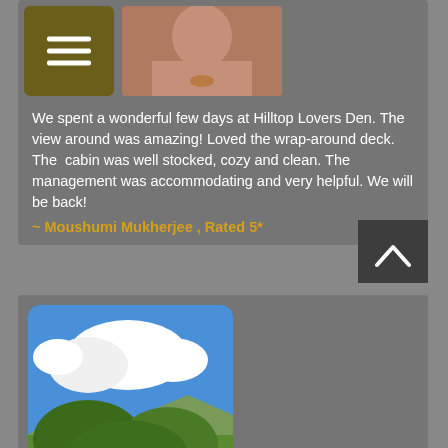[Figure (screenshot): Mobile app screenshot showing a hamburger menu button and a partial photo of a person]
We spent a wonderful few days at Hilltop Lovers Den. The view around was amazing! Loved the wrap-around deck. The  cabin was well stocked, cozy and clean. The management was accommodating and very helpful. We will be back!
~ Moushumi Mukherjee , Rated 5*
[Figure (photo): Outdoor photo showing blue sky with white clouds and green trees/bushes]
We had a wonderful stay at the brand new Hilltop Honey Cove cabin! It is extremely accommodating for a large group with plenty of sleepin... different levels